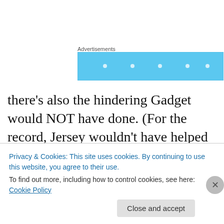Advertisements
[Figure (other): Blue advertisement banner with white dots]
there's also the hindering Gadget would NOT have done. (For the record, Jersey wouldn't have helped me much on a day like this, because she was trained and worked when I was much more functional, but she also would have been very easy — no demands.) gadget wouldn't have jumped up with his forelegs landing on my legs after i was back in
Privacy & Cookies: This site uses cookies. By continuing to use this website, you agree to their use.
To find out more, including how to control cookies, see here: Cookie Policy
Close and accept